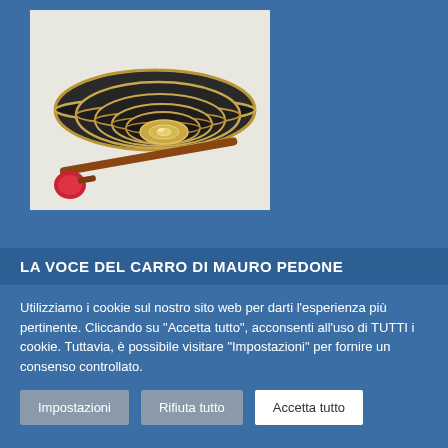[Figure (photo): A set of nested Tibetan singing bowls of decreasing size, dark metallic with gold rims, with a red-tipped wooden mallet resting beside them on the left. White background.]
LA VOCE DEL CARRO DI MAURO PEDONE
Utilizziamo i cookie sul nostro sito web per darti l'esperienza più pertinente. Cliccando su "Accetta tutto", acconsenti all'uso di TUTTI i cookie. Tuttavia, è possibile visitare "Impostazioni" per fornire un consenso controllato.
Impostazioni
Rifiuta tutto
Accetta tutto